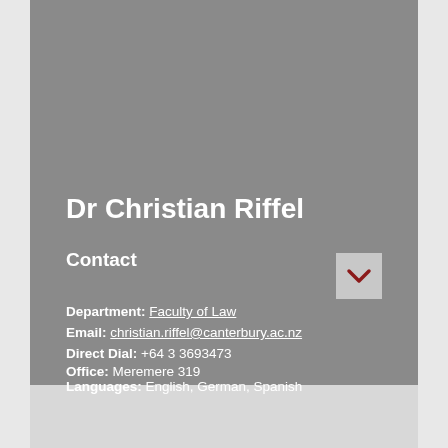Dr Christian Riffel
Contact
Department: Faculty of Law
Email: christian.riffel@canterbury.ac.nz
Direct Dial: +64 3 3693473
Office: Meremere 319
Languages: English, German, Spanish